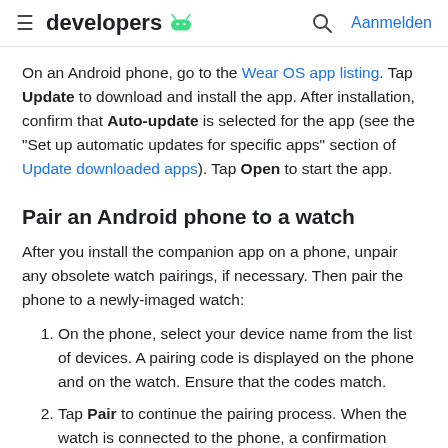developers [android logo] [search] Aanmelden
On an Android phone, go to the Wear OS app listing. Tap Update to download and install the app. After installation, confirm that Auto-update is selected for the app (see the "Set up automatic updates for specific apps" section of Update downloaded apps). Tap Open to start the app.
Pair an Android phone to a watch
After you install the companion app on a phone, unpair any obsolete watch pairings, if necessary. Then pair the phone to a newly-imaged watch:
On the phone, select your device name from the list of devices. A pairing code is displayed on the phone and on the watch. Ensure that the codes match.
Tap Pair to continue the pairing process. When the watch is connected to the phone, a confirmation